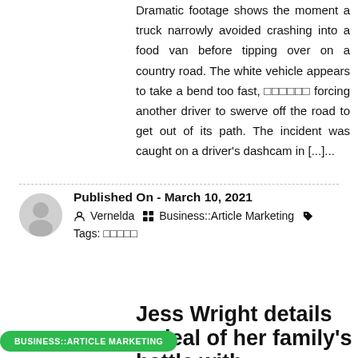Dramatic footage shows the moment a truck narrowly avoided crashing into a food van before tipping over on a country road. The white vehicle appears to take a bend too fast, □□□□□□ forcing another driver to swerve off the road to get out of its path. The incident was caught on a driver's dashcam in [...]...
Published On - March 10, 2021
Vernelda  Business::Article Marketing  Tags: □□□□□
Jess Wright details ordeal of her family's battle with coronavirus
BUSINESS::ARTICLE MARKETING